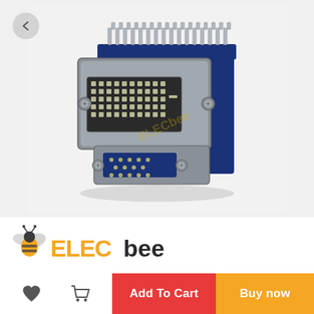[Figure (photo): A DVI and VGA combo connector (dual port, right-angle PCB mount) with blue plastic housing and silver metallic shell, showing DVI-I female port on top and HD15 VGA female port on bottom, with PCB pins visible at the top.]
[Figure (logo): ELECbee logo: a stylized bee (yellow and grey) on the left, followed by 'ELEC' in yellow and 'bee' in dark grey/black text.]
Add To Cart
Buy now